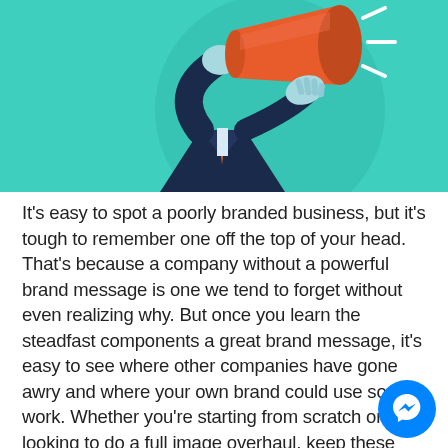[Figure (illustration): Flat-style illustration on a teal/turquoise background showing a businessman in a dark suit and orange tie holding a megaphone, with a hand also gripping the megaphone. Abstract circular shape behind the figure.]
It's easy to spot a poorly branded business, but it's tough to remember one off the top of your head. That's because a company without a powerful brand message is one we tend to forget without even realizing why. But once you learn the steadfast components a great brand message, it's easy to see where other companies have gone awry and where your own brand could use some work. Whether you're starting from scratch or looking to do a full image overhaul, keep these key branding